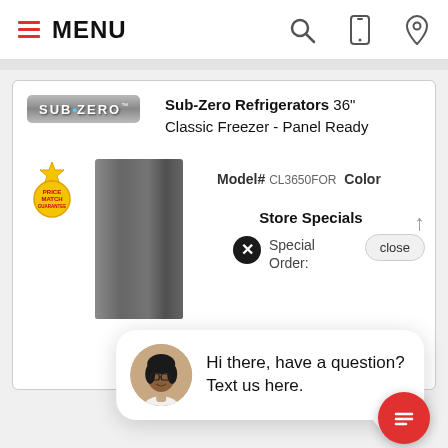MENU
[Figure (screenshot): Sub-Zero Refrigerators 36" Classic Freezer - Panel Ready product page on a retail website, showing the Sub-Zero logo, price match badge, dark refrigerator panel image, product name, model number CL3650FOR, Color, Store Specials section with Special Order label and close button, and a chat popup saying 'Hi there, have a question? Text us here.' with a customer service avatar and a red chat FAB button.]